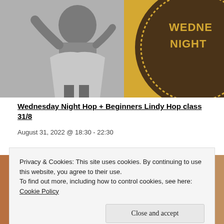[Figure (photo): Split image: left half shows a black-and-white photo of a swing dancer (person in a skirt with arms raised), right half is a golden/yellow background with a dark brown circular badge showing text 'WEDNESDAY NIGHT' in yellow capital letters]
Wednesday Night Hop + Beginners Lindy Hop class 31/8
August 31, 2022 @ 18:30 - 22:30
[Figure (photo): Colorful partial image of people at a dance event, partially obscured by the cookie banner overlay]
Privacy & Cookies: This site uses cookies. By continuing to use this website, you agree to their use.
To find out more, including how to control cookies, see here:
Cookie Policy